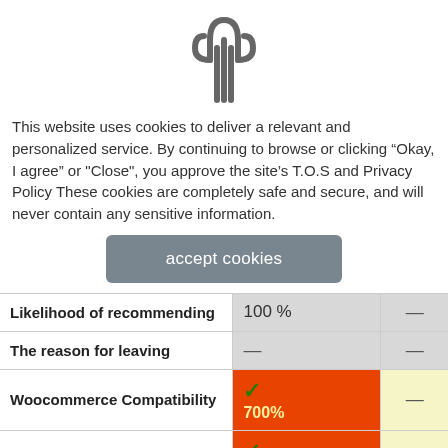[Figure (logo): Cactus icon outline in dark gray]
This website uses cookies to deliver a relevant and personalized service. By continuing to browse or clicking “Okay, I agree” or "Close", you approve the site's T.O.S and Privacy Policy These cookies are completely safe and secure, and will never contain any sensitive information.
accept cookies
|  |  |  |
| --- | --- | --- |
| Likelihood of recommending | 100 % | — |
| The reason for leaving | — | — |
| Woocommerce Compatibility | ✓
700% | — |
| BuddyPress Compatibility | ✓
490% | — |